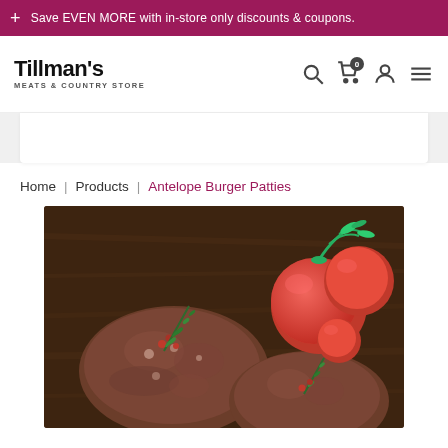+ Save EVEN MORE with in-store only discounts & coupons.
[Figure (logo): Tillman's Meats & Country Store logo]
Home | Products | Antelope Burger Patties
[Figure (photo): Antelope burger patties with tomatoes and rosemary on a wooden cutting board]